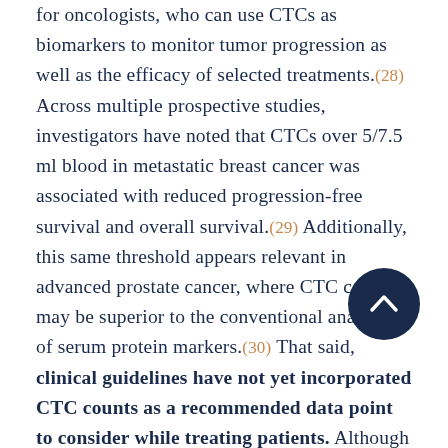for oncologists, who can use CTCs as biomarkers to monitor tumor progression as well as the efficacy of selected treatments.(28) Across multiple prospective studies, investigators have noted that CTCs over 5/7.5 ml blood in metastatic breast cancer was associated with reduced progression-free survival and overall survival.(29) Additionally, this same threshold appears relevant in advanced prostate cancer, where CTC count may be superior to the conventional analysis of serum protein markers.(30) That said, clinical guidelines have not yet incorporated CTC counts as a recommended data point to consider while treating patients. Although treatments for cancer are continually improving, there